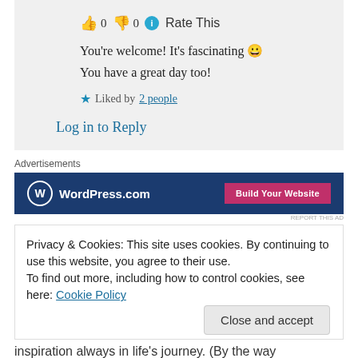👍 0 👎 0 ℹ Rate This
You're welcome! It's fascinating 😀 You have a great day too!
★ Liked by 2 people
Log in to Reply
Advertisements
[Figure (screenshot): WordPress.com advertisement banner with dark blue background, WordPress logo on left, and 'Build Your Website' pink button on right]
REPORT THIS AD
Privacy & Cookies: This site uses cookies. By continuing to use this website, you agree to their use.
To find out more, including how to control cookies, see here: Cookie Policy
Close and accept
inspiration always in life's journey. (By the way